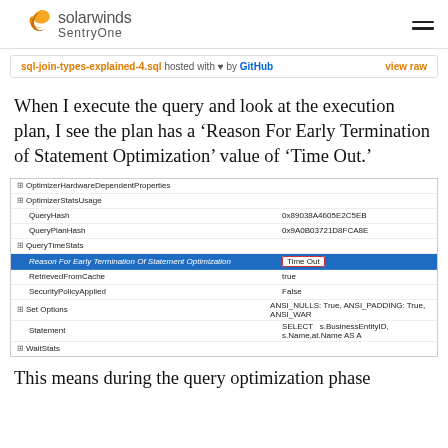[Figure (logo): SolarWinds SentryOne logo with orange bird icon and hamburger menu]
sql-join-types-explained-4.sql hosted with ♥ by GitHub   view raw
When I execute the query and look at the execution plan, I see the plan has a 'Reason For Early Termination of Statement Optimization' value of 'Time Out.'
[Figure (screenshot): SQL Server execution plan properties panel showing rows: OptimizerHardwareDependentProperties, OptimizerStatsUsage, QueryHash (0x89038A4605E2C5EB), QueryPlanHash (0x9A0B03721D8FCA8E), QueryTimeStats, Reason For Early Termination Of Statement Optimization (highlighted in blue, value 'Time Out' in red box), RetrievedFromCache (true), SecurityPolicyApplied (False), Set Options (ANSI_NULLS: True, ANSI_PADDING: True, ANSI_WAR...), Statement (SELECT s.BusinessEntityID, s.Name,at.Name AS A...), WaitStats]
This means during the query optimization phase